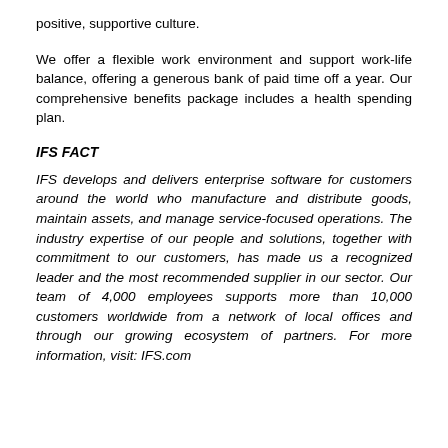positive, supportive culture.
We offer a flexible work environment and support work-life balance, offering a generous bank of paid time off a year. Our comprehensive benefits package includes a health spending plan.
IFS FACT
IFS develops and delivers enterprise software for customers around the world who manufacture and distribute goods, maintain assets, and manage service-focused operations. The industry expertise of our people and solutions, together with commitment to our customers, has made us a recognized leader and the most recommended supplier in our sector. Our team of 4,000 employees supports more than 10,000 customers worldwide from a network of local offices and through our growing ecosystem of partners. For more information, visit: IFS.com